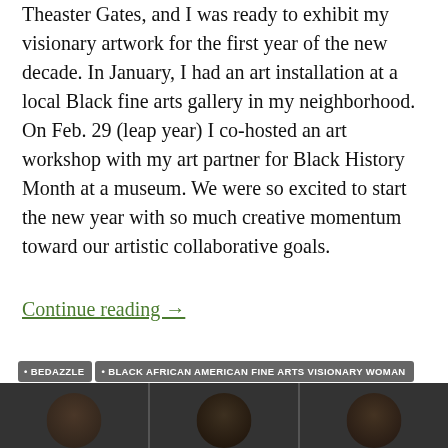Theaster Gates, and I was ready to exhibit my visionary artwork for the first year of the new decade. In January, I had an art installation at a local Black fine arts gallery in my neighborhood. On Feb. 29 (leap year) I co-hosted an art workshop with my art partner for Black History Month at a museum. We were so excited to start the new year with so much creative momentum toward our artistic collaborative goals.
Continue reading →
BEDAZZLE
BLACK AFRICAN AMERICAN FINE ARTS VISIONARY WOMAN
BLACK AFRICAN AMERICAN VISUAL ARTISTS
BLACK ART
COVID-19 PANDEMIC
EASTER SUNDAY
FEATURED
FINE ARTS
GOD
OPINION
SHURVON HAYNES
VISIONARY ART
VISUAL ART
VOICES
[Figure (photo): Dark strip of three circular portrait photos at the bottom of the page showing faces against a dark background]